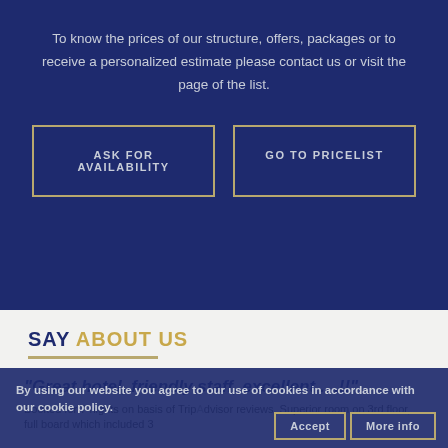To know the prices of our structure, offers, packages or to receive a personalized estimate please contact us or visit the page of the list.
ASK FOR AVAILABILITY
GO TO PRICELIST
SAY ABOUT US
"Great hotel, friendly staff, excellent ....!!"
Booked for 7 nights on basis of TripAdvisor reviews. Superior room on 3rd floor, full board which included 3
By using our website you agree to our use of cookies in accordance with our cookie policy.